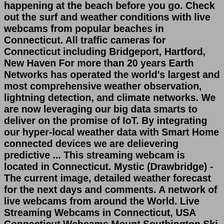happening at the beach before you go. Check out the surf and weather conditions with live webcams from popular beaches in Connecticut. All traffic cameras for Connecticut including Bridgeport, Hartford, New Haven For more than 20 years Earth Networks has operated the world's largest and most comprehensive weather observation, lightning detection, and climate networks. We are now leveraging our big data smarts to deliver on the promise of IoT. By integrating our hyper-local weather data with Smart Home connected devices we are delievering predictive ... This streaming webcam is located in Connecticut. Mystic (Drawbridge) - The current image, detailed weather forecast for the next days and comments. A network of live webcams from around the World. Live Streaming Webcams in Connecticut, USA Connecticut Webcams Mount Southington Ski Area, CT Usa / Connecticut Landscape, Ski Goat Barn Cam, Salem Usa / Connecticut Animals Kitten Academy Cam, CT Usa / Connecticut Animals Norwest Marine Cam Usa / Connecticut River, Boats